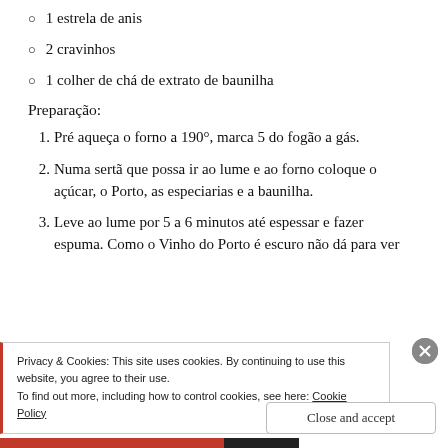1 estrela de anis
2 cravinhos
1 colher de chá de extrato de baunilha
Preparação:
1. Pré aqueça o forno a 190°, marca 5 do fogão a gás.
2. Numa sertã que possa ir ao lume e ao forno coloque o açúcar, o Porto, as especiarias e a baunilha.
3. Leve ao lume por 5 a 6 minutos até espessar e fazer espuma. Como o Vinho do Porto é escuro não dá para ver
Privacy & Cookies: This site uses cookies. By continuing to use this website, you agree to their use. To find out more, including how to control cookies, see here: Cookie Policy
Close and accept